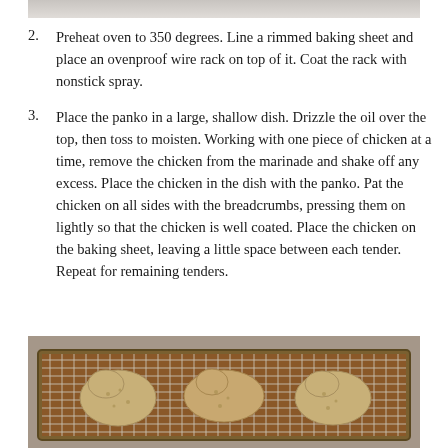[Figure (photo): Top portion of a food photo, showing a light-colored background with what appears to be breaded chicken or similar food item.]
2. Preheat oven to 350 degrees. Line a rimmed baking sheet and place an ovenproof wire rack on top of it. Coat the rack with nonstick spray.
3. Place the panko in a large, shallow dish. Drizzle the oil over the top, then toss to moisten. Working with one piece of chicken at a time, remove the chicken from the marinade and shake off any excess. Place the chicken in the dish with the panko. Pat the chicken on all sides with the breadcrumbs, pressing them on lightly so that the chicken is well coated. Place the chicken on the baking sheet, leaving a little space between each tender. Repeat for remaining tenders.
[Figure (photo): A baking sheet with an ovenproof wire rack on top, holding several breaded chicken tenders coated in panko breadcrumbs, placed on a wooden surface.]